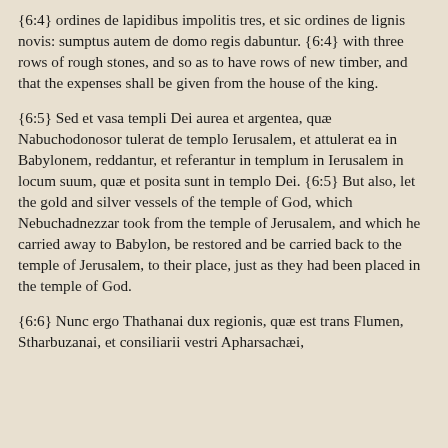{6:4} ordines de lapidibus impolitis tres, et sic ordines de lignis novis: sumptus autem de domo regis dabuntur. {6:4} with three rows of rough stones, and so as to have rows of new timber, and that the expenses shall be given from the house of the king.
{6:5} Sed et vasa templi Dei aurea et argentea, quæ Nabuchodonosor tulerat de templo Ierusalem, et attulerat ea in Babylonem, reddantur, et referantur in templum in Ierusalem in locum suum, quæ et posita sunt in templo Dei. {6:5} But also, let the gold and silver vessels of the temple of God, which Nebuchadnezzar took from the temple of Jerusalem, and which he carried away to Babylon, be restored and be carried back to the temple of Jerusalem, to their place, just as they had been placed in the temple of God.
{6:6} Nunc ergo Thathanai dux regionis, quæ est trans Flumen, Stharbuzanai, et consiliarii vestri Apharsachæi,